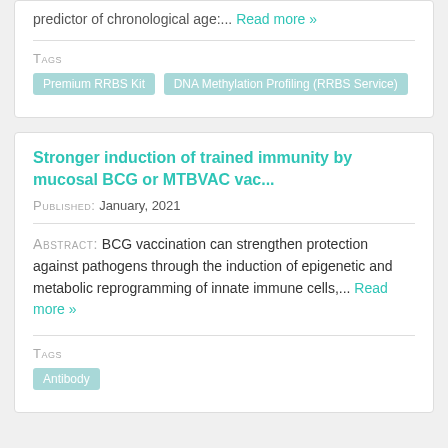predictor of chronological age:... Read more »
Tags
Premium RRBS Kit
DNA Methylation Profiling (RRBS Service)
Stronger induction of trained immunity by mucosal BCG or MTBVAC vac...
Published: January, 2021
Abstract: BCG vaccination can strengthen protection against pathogens through the induction of epigenetic and metabolic reprogramming of innate immune cells,... Read more »
Tags
Antibody